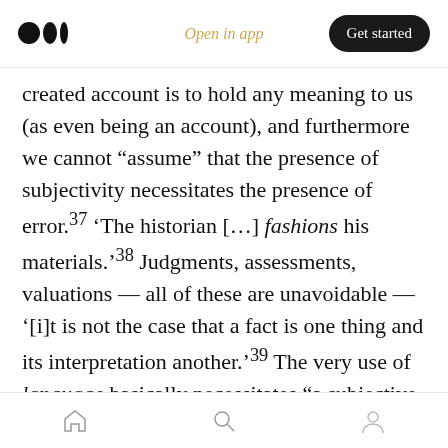Open in app | Get started
created account is to hold any meaning to us (as even being an account), and furthermore we cannot “assume” that the presence of subjectivity necessitates the presence of error.³⁷ ‘The historian […] fashions his materials.’³⁸ Judgments, assessments, valuations — all of these are unavoidable — ‘[i]t is not the case that a fact is one thing and its interpretation another.’³⁹ The very use of language basically necessitates “a subjective element,” for if I choose to use one word versus another, I have passed a judgment which must somehow reflect
home | search | profile